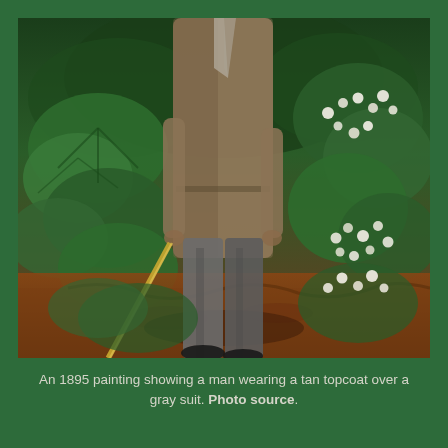[Figure (illustration): An 1895 painting showing a man wearing a tan topcoat over a gray suit, holding a cane, standing among lush green foliage and white flowering shrubs on a forest floor with reddish-brown earth.]
An 1895 painting showing a man wearing a tan topcoat over a gray suit. Photo source.